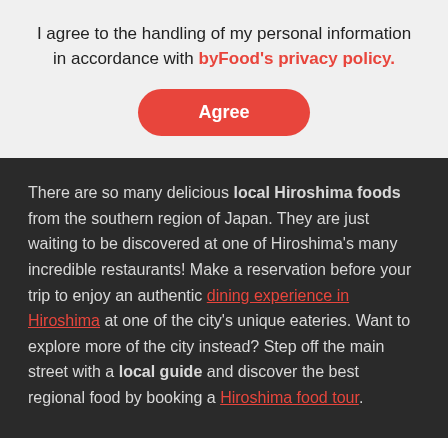I agree to the handling of my personal information in accordance with byFood's privacy policy.
Agree
There are so many delicious local Hiroshima foods from the southern region of Japan. They are just waiting to be discovered at one of Hiroshima's many incredible restaurants! Make a reservation before your trip to enjoy an authentic dining experience in Hiroshima at one of the city's unique eateries. Want to explore more of the city instead? Step off the main street with a local guide and discover the best regional food by booking a Hiroshima food tour.